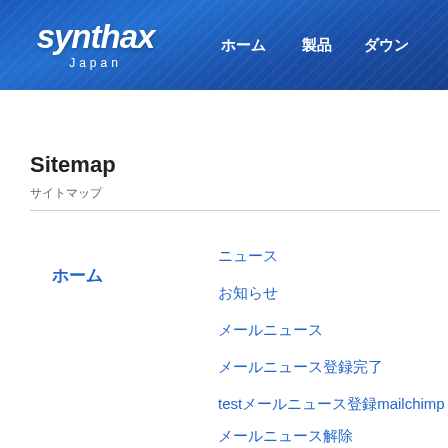synthax Japan ホーム 製品 ダウン
Sitemap
サイトマップ
ホーム
ニュース
お知らせ
メールニュース
メールニュース登録完了
testメールニュース登録mailchimp
メールニュース解除